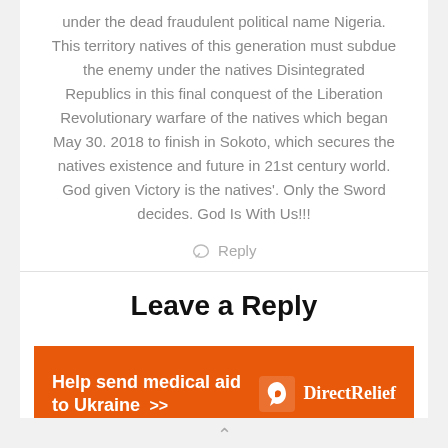under the dead fraudulent political name Nigeria. This territory natives of this generation must subdue the enemy under the natives Disintegrated Republics in this final conquest of the Liberation Revolutionary warfare of the natives which began May 30. 2018 to finish in Sokoto, which secures the natives existence and future in 21st century world. God given Victory is the natives'. Only the Sword decides. God Is With Us!!!
Reply
Leave a Reply
[Figure (infographic): Orange advertisement banner for Direct Relief: 'Help send medical aid to Ukraine >>' with Direct Relief logo (white bird icon and text) on the right.]